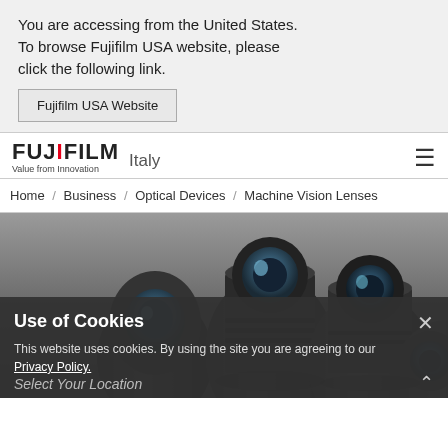You are accessing from the United States. To browse Fujifilm USA website, please click the following link.
Fujifilm USA Website
[Figure (logo): FUJIFILM Italy logo with 'Value from Innovation' tagline and hamburger menu icon]
Home / Business / Optical Devices / Machine Vision Lenses
[Figure (photo): Multiple Fujifilm machine vision lenses arranged on a dark reflective surface]
Use of Cookies
This website uses cookies. By using the site you are agreeing to our Privacy Policy.
Select Your Location